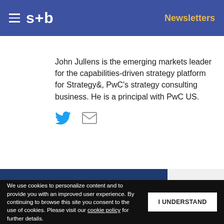s+b  Newsletters
John Jullens is the emerging markets leader for the capabilities-driven strategy platform for Strategy&, PwC's strategy consulting business. He is a principal with PwC US.
[Figure (other): Twitter and email social media icons]
Get s+b's award-winning newsletter delivered to your inbox.
We use cookies to personalize content and to provide you with an improved user experience. By continuing to browse this site you consent to the use of cookies. Please visit our cookie policy for further details.